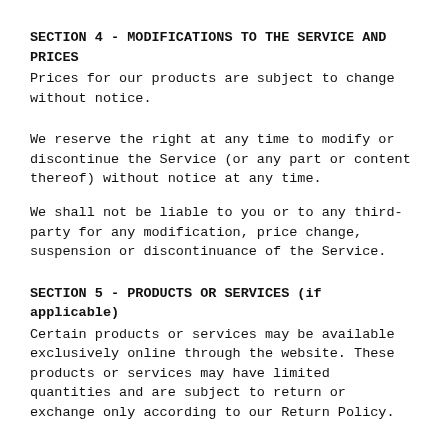SECTION 4 - MODIFICATIONS TO THE SERVICE AND PRICES
Prices for our products are subject to change without notice.
We reserve the right at any time to modify or discontinue the Service (or any part or content thereof) without notice at any time.
We shall not be liable to you or to any third-party for any modification, price change, suspension or discontinuance of the Service.
SECTION 5 - PRODUCTS OR SERVICES (if applicable)
Certain products or services may be available exclusively online through the website. These products or services may have limited quantities and are subject to return or exchange only according to our Return Policy.